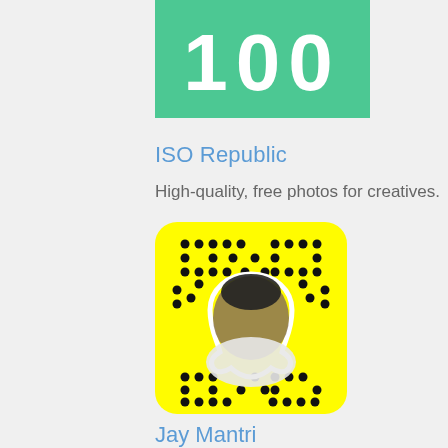[Figure (logo): Green banner with white bold text '100' partially cropped at top of page]
ISO Republic
High-quality, free photos for creatives.
[Figure (photo): Snapchat snapcode on yellow background featuring a man with beard and cap]
Jay Mantri
Free pics. Do anything (CC0). Make magic.
[Figure (photo): Partial image with muted teal/gray tones at bottom of page]